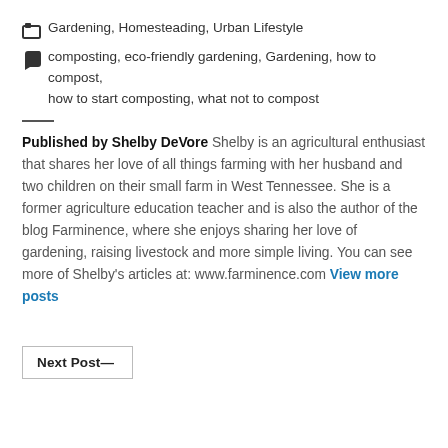Gardening, Homesteading, Urban Lifestyle
composting, eco-friendly gardening, Gardening, how to compost, how to start composting, what not to compost
Published by Shelby DeVore Shelby is an agricultural enthusiast that shares her love of all things farming with her husband and two children on their small farm in West Tennessee. She is a former agriculture education teacher and is also the author of the blog Farminence, where she enjoys sharing her love of gardening, raising livestock and more simple living. You can see more of Shelby's articles at: www.farminence.com View more posts
Next Post—